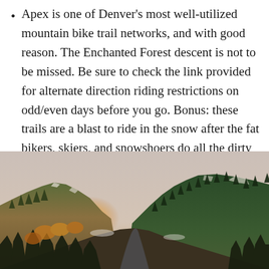Apex is one of Denver's most well-utilized mountain bike trail networks, and with good reason. The Enchanted Forest descent is not to be missed. Be sure to check the link provided for alternate direction riding restrictions on odd/even days before you go. Bonus: these trails are a blast to ride in the snow after the fat bikers, skiers, and snowshoers do all the dirty work of packing down the snow.
[Figure (photo): Mountain landscape at sunset/golden hour showing forested ridgelines with snow patches, a valley below, and a warm orange-yellow glow behind the hills under a pale pink-grey sky.]